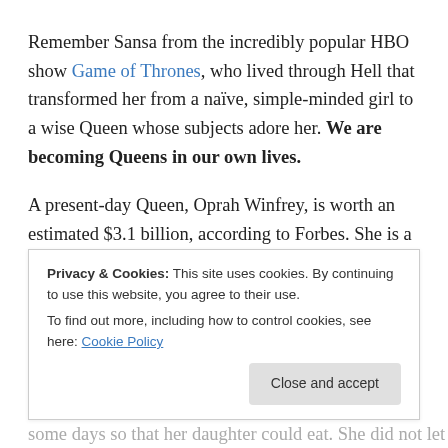Remember Sansa from the incredibly popular HBO show Game of Thrones, who lived through Hell that transformed her from a naïve, simple-minded girl to a wise Queen whose subjects adore her. We are becoming Queens in our own lives.
A present-day Queen, Oprah Winfrey, is worth an estimated $3.1 billion, according to Forbes. She is a well-respected actress, talk show host and philanthropist. Her mother was a teenage single mom in Mississippi. Early on, [truncated]
Privacy & Cookies: This site uses cookies. By continuing to use this website, you agree to their use.
To find out more, including how to control cookies, see here: Cookie Policy
some days so that her daughter could eat. She did not let [truncated]